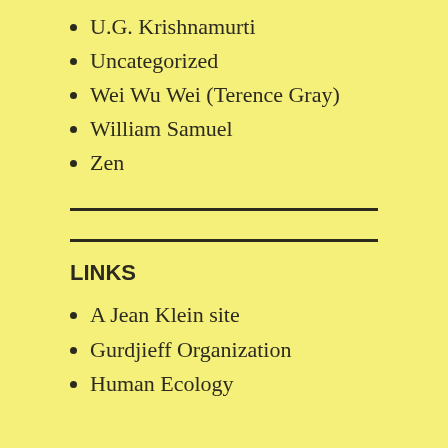U.G. Krishnamurti
Uncategorized
Wei Wu Wei (Terence Gray)
William Samuel
Zen
LINKS
A Jean Klein site
Gurdjieff Organization
Human Ecology